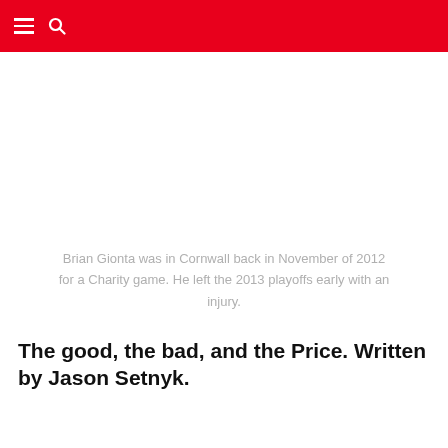[Figure (photo): Photo placeholder area showing Brian Gionta in Cornwall, November 2012, for a Charity game.]
Brian Gionta was in Cornwall back in November of 2012 for a Charity game. He left the 2013 playoffs early with an injury.
The good, the bad, and the Price. Written by Jason Setnyk.